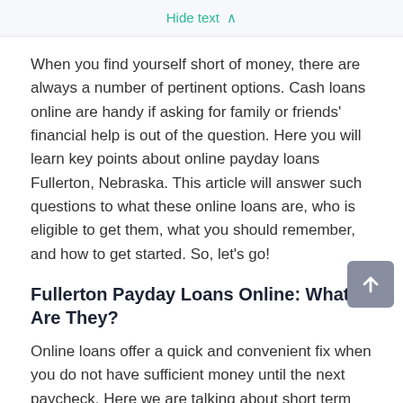Hide text ∧
When you find yourself short of money, there are always a number of pertinent options. Cash loans online are handy if asking for family or friends' financial help is out of the question. Here you will learn key points about online payday loans Fullerton, Nebraska. This article will answer such questions to what these online loans are, who is eligible to get them, what you should remember, and how to get started. So, let's go!
Fullerton Payday Loans Online: What Are They?
Online loans offer a quick and convenient fix when you do not have sufficient money until the next paycheck. Here we are talking about short term loans that usually have